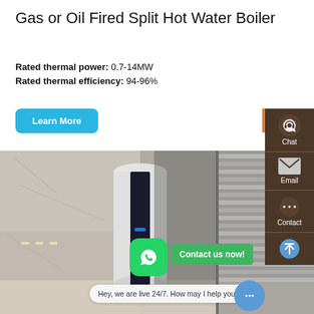Gas or Oil Fired Split Hot Water Boiler
Rated thermal power: 0.7-14MW
Rated thermal efficiency: 94-96%
[Figure (photo): Photo of a split hot water boiler unit installed indoors against a marble wall, with UI overlays including Learn More button, Get a quote button, WhatsApp contact button, Contact us now label, right-side chat/email/contact sidebar, and a live chat bubble saying 'Hey, we are live 24/7. How may I help you?']